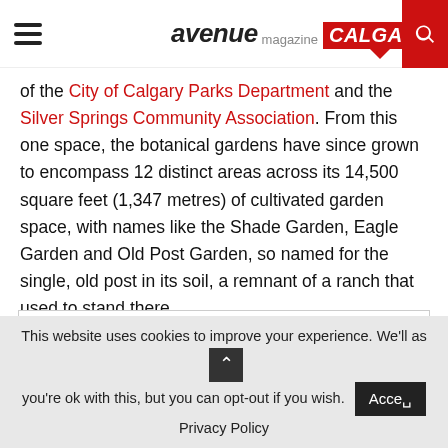avenue magazine CALGARY
of the City of Calgary Parks Department and the Silver Springs Community Association. From this one space, the botanical gardens have since grown to encompass 12 distinct areas across its 14,500 square feet (1,347 metres) of cultivated garden space, with names like the Shade Garden, Eagle Garden and Old Post Garden, so named for the single, old post in its soil, a remnant of a ranch that used to stand there.
[Figure (photo): Image placeholder (broken image icon) in a white bordered box]
This website uses cookies to improve your experience. We'll as you're ok with this, but you can opt-out if you wish. Accept
Privacy Policy